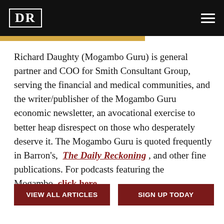DR
Richard Daughty (Mogambo Guru) is general partner and COO for Smith Consultant Group, serving the financial and medical communities, and the writer/publisher of the Mogambo Guru economic newsletter, an avocational exercise to better heap disrespect on those who desperately deserve it. The Mogambo Guru is quoted frequently in Barron's, The Daily Reckoning, and other fine publications. For podcasts featuring the Mogambo, click here.
VIEW ALL ARTICLES
SIGN UP TODAY